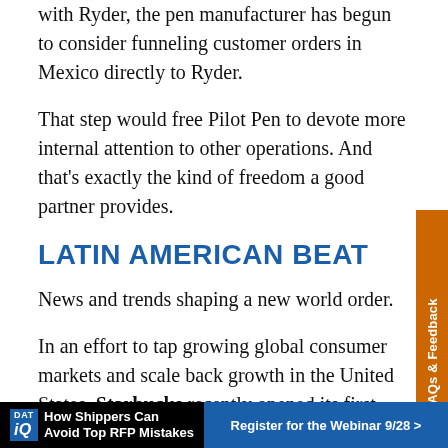with Ryder, the pen manufacturer has begun to consider funneling customer orders in Mexico directly to Ryder.
That step would free Pilot Pen to devote more internal attention to other operations. And that's exactly the kind of freedom a good partner provides.
LATIN AMERICAN BEAT
News and trends shaping a new world order.
In an effort to tap growing global consumer markets and scale back growth in the United States, Starbucks recently opened its first store in Argentina. The Seattle-based chain plans to debut as many as four stores in Argentina by year's end. Starbucks already has coffee shops in seven Latin American countries including
[Figure (other): Orange vertical tab on right side reading 'FAQs & Feedback']
[Figure (other): Advertisement banner at bottom: DAT iQ logo, 'How Shippers Can Avoid Top RFP Mistakes', blue button 'Register for the Webinar 9/28 >']